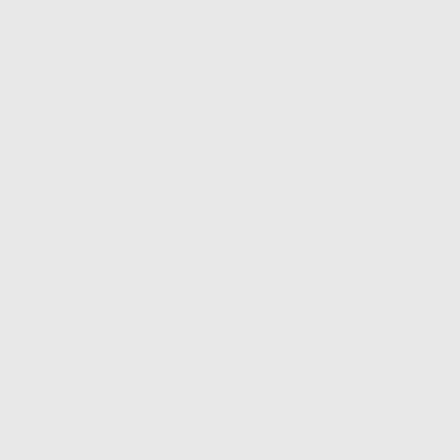Grab My Button
[Figure (logo): Bad Bird Reads blog logo: silhouette of a woman with red hair and flying crow/raven against grey tones background, with 'Bad Bird Reads' text in red gothic lettering]
<a href="http://badbirdreads.com/" target="_blank" rel="noopener"><img src="http://badbirdreads.com/wp-content/uploads/[filename].badbirdreads...
Archives
select month
Books by Amazon